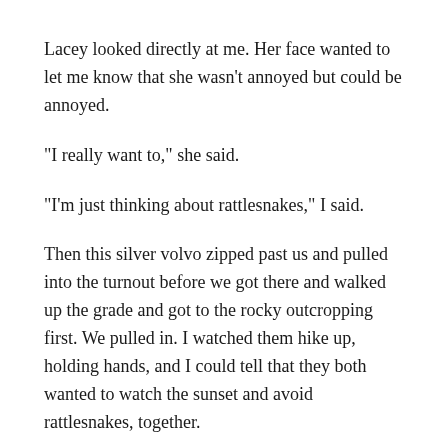Lacey looked directly at me. Her face wanted to let me know that she wasn't annoyed but could be annoyed.
“I really want to,” she said.
“I’m just thinking about rattlesnakes,” I said.
Then this silver volvo zipped past us and pulled into the turnout before we got there and walked up the grade and got to the rocky outcropping first. We pulled in. I watched them hike up, holding hands, and I could tell that they both wanted to watch the sunset and avoid rattlesnakes, together.
Still way off in the distance I saw a couple lightning